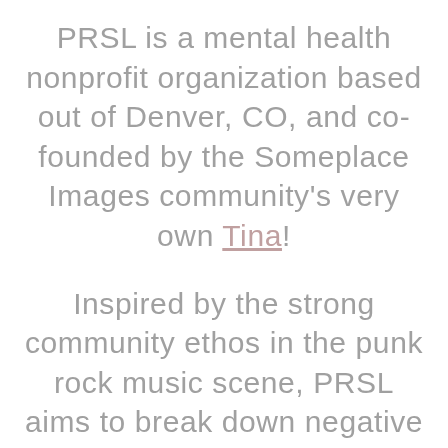PRSL is a mental health nonprofit organization based out of Denver, CO, and co-founded by the Someplace Images community's very own Tina!
Inspired by the strong community ethos in the punk rock music scene, PRSL aims to break down negative stigmas through various artist-